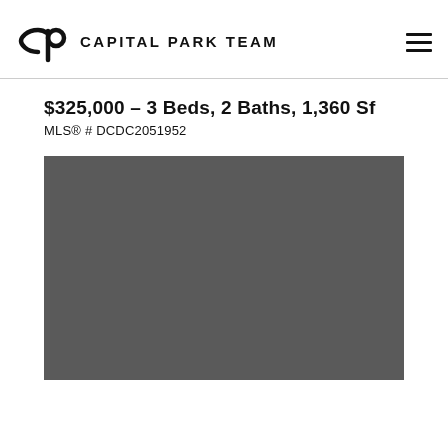CAPITAL PARK TEAM
$325,000 - 3 Beds, 2 Baths, 1,360 Sf
MLS® # DCDC2051952
[Figure (photo): Property photo placeholder — solid dark gray rectangle representing a real estate listing photo]